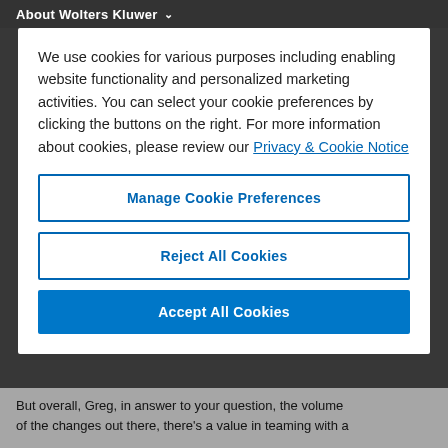About Wolters Kluwer
We use cookies for various purposes including enabling website functionality and personalized marketing activities. You can select your cookie preferences by clicking the buttons on the right. For more information about cookies, please review our Privacy & Cookie Notice
Manage Cookie Preferences
Reject All Cookies
Accept All Cookies
But overall, Greg, in answer to your question, the volume of the changes out there, there's a value in teaming with a